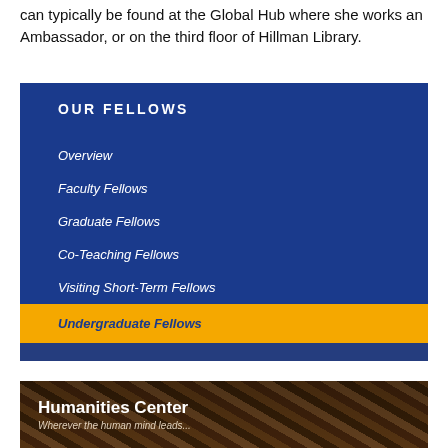can typically be found at the Global Hub where she works an Ambassador, or on the third floor of Hillman Library.
OUR FELLOWS
Overview
Faculty Fellows
Graduate Fellows
Co-Teaching Fellows
Visiting Short-Term Fellows
Undergraduate Fellows
[Figure (photo): Humanities Center banner with decorative wood/architecture background, title 'Humanities Center' and subtitle 'Wherever the human mind leads']